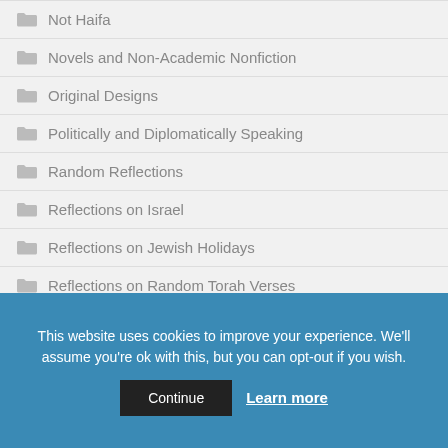Not Haifa
Novels and Non-Academic Nonfiction
Original Designs
Politically and Diplomatically Speaking
Random Reflections
Reflections on Israel
Reflections on Jewish Holidays
Reflections on Random Torah Verses
This website uses cookies to improve your experience. We'll assume you're ok with this, but you can opt-out if you wish.